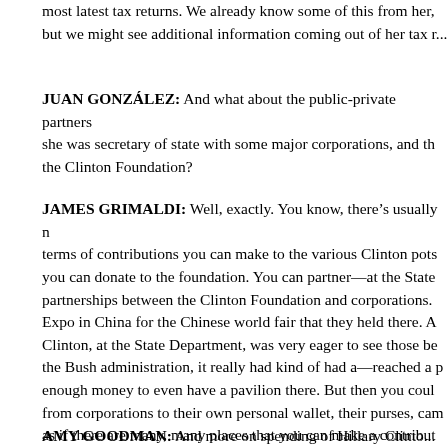most latest tax returns. We already know some of this from her, but we might see additional information coming out of her tax r...
JUAN GONZÁLEZ: And what about the public-private partners she was secretary of state with some major corporations, and the the Clinton Foundation?
JAMES GRIMALDI: Well, exactly. You know, there's usually n terms of contributions you can make to the various Clinton pots you can donate to the foundation. You can partner—at the State partnerships between the Clinton Foundation and corporations. Expo in China for the Chinese world fair that they held there. A Clinton, at the State Department, was very eager to see those be the Bush administration, it really had kind of had a—reached a enough money to even have a pavilion there. But then you coul from corporations to their own personal wallet, their purses, ca as if there are many, many places that you can make a contribut Mrs. Clinton at the State Department or get involved at the Clin
AMY GOODMAN: And more on spending of Hillary Clinto...